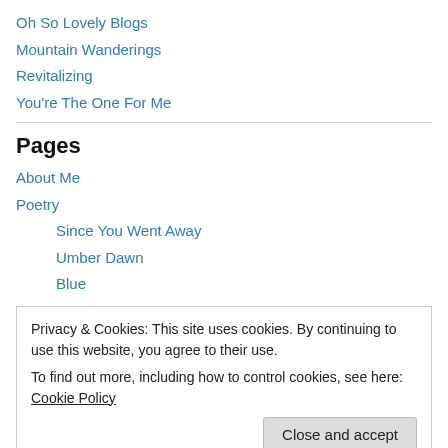Oh So Lovely Blogs
Mountain Wanderings
Revitalizing
You're The One For Me
Pages
About Me
Poetry
Since You Went Away
Umber Dawn
Blue
Privacy & Cookies: This site uses cookies. By continuing to use this website, you agree to their use. To find out more, including how to control cookies, see here: Cookie Policy
You Are Mine